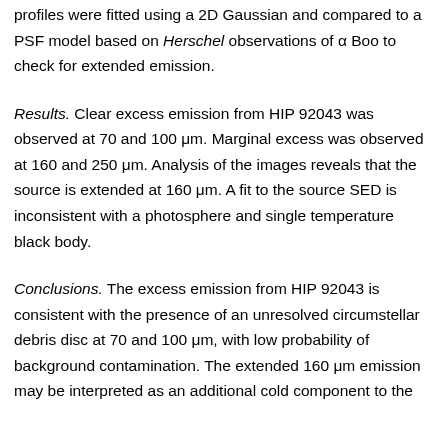profiles were fitted using a 2D Gaussian and compared to a PSF model based on Herschel observations of α Boo to check for extended emission.
Results. Clear excess emission from HIP 92043 was observed at 70 and 100 μm. Marginal excess was observed at 160 and 250 μm. Analysis of the images reveals that the source is extended at 160 μm. A fit to the source SED is inconsistent with a photosphere and single temperature black body.
Conclusions. The excess emission from HIP 92043 is consistent with the presence of an unresolved circumstellar debris disc at 70 and 100 μm, with low probability of background contamination. The extended 160 μm emission may be interpreted as an additional cold component to the